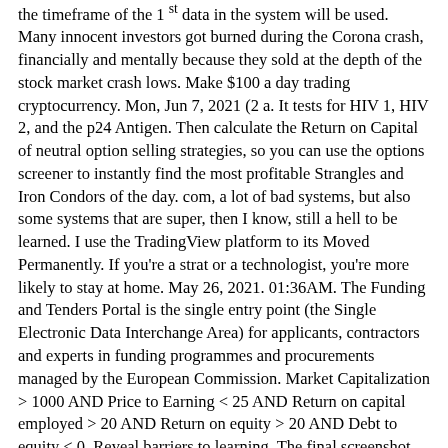the timeframe of the 1 st data in the system will be used. Many innocent investors got burned during the Corona crash, financially and mentally because they sold at the depth of the stock market crash lows. Make $100 a day trading cryptocurrency. Mon, Jun 7, 2021 (2 a. It tests for HIV 1, HIV 2, and the p24 Antigen. Then calculate the Return on Capital of neutral option selling strategies, so you can use the options screener to instantly find the most profitable Strangles and Iron Condors of the day. com, a lot of bad systems, but also some systems that are super, then I know, still a hell to be learned. I use the TradingView platform to its Moved Permanently. If you're a strat or a technologist, you're more likely to stay at home. May 26, 2021. 01:36AM. The Funding and Tenders Portal is the single entry point (the Single Electronic Data Interchange Area) for applicants, contractors and experts in funding programmes and procurements managed by the European Commission. Market Capitalization > 1000 AND Price to Earning < 25 AND Return on capital employed > 20 AND Return on equity > 20 AND Debt to equity < 0. Reveal barriers to learning. The final screenshot shows the end result. Each pattern involves two or three candles, and this indicator will draw a bounding box around the candles and name the pattern. If this setup is present, it will indicate it on the table with the ticker name where the setup is present. In order to backtest the performance of selected strategies, you can view a report by right clicking a generated signal and choosing "Show Report" from the pop-up menu. Highest Implied